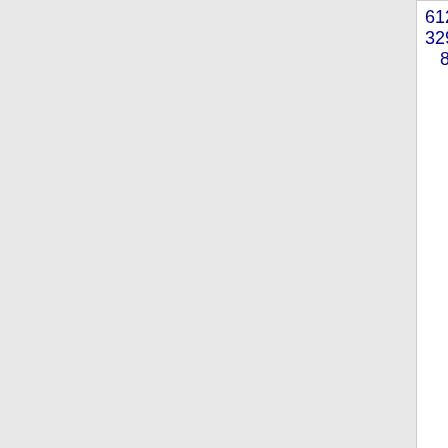| Phone | State | Carrier | ZIP | City |
| --- | --- | --- | --- | --- |
| 612-329-8 | MN | QWEST CORPORATION | 9631 | TWIN... |
| 612-329-9 | MN | QWEST CORPORATION | 9631 | TWIN... |